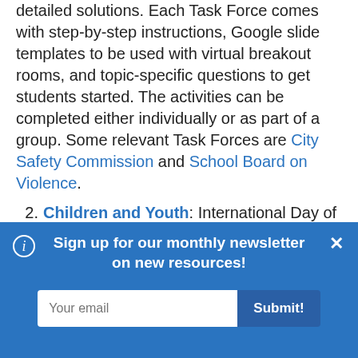decision makers and brainstorm well-detailed solutions. Each Task Force comes with step-by-step instructions, Google slide templates to be used with virtual breakout rooms, and topic-specific questions to get students started. The activities can be completed either individually or as part of a group. Some relevant Task Forces are City Safety Commission and School Board on Violence.
2. Children and Youth: International Day of Peace website offers a variety of different lessons at the elementary,
Sign up for our monthly newsletter on new resources!
Your email [input] Submit!